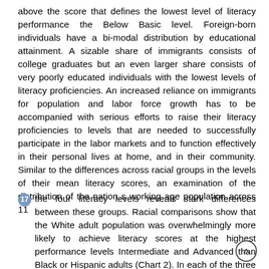above the score that defines the lowest level of literacy performance the Below Basic level. Foreign-born individuals have a bi-modal distribution by educational attainment. A sizable share of immigrants consists of college graduates but an even larger share consists of very poorly educated individuals with the lowest levels of literacy proficiencies. An increased reliance on immigrants for population and labor force growth has to be accompanied with serious efforts to raise their literacy proficiencies to levels that are needed to successfully participate in the labor markets and to function effectively in their personal lives at home, and in their community. Similar to the differences across racial groups in the levels of their mean literacy scores, an examination of the distribution of the nation s working age population across 11
17 the four literacy levels reveals stark differences between these groups. Racial comparisons show that the White adult population was overwhelmingly more likely to achieve literacy scores at the highest performance levels Intermediate and Advanced than Black or Hispanic adults (Chart 2). In each of the three literacy areas, about 15 to